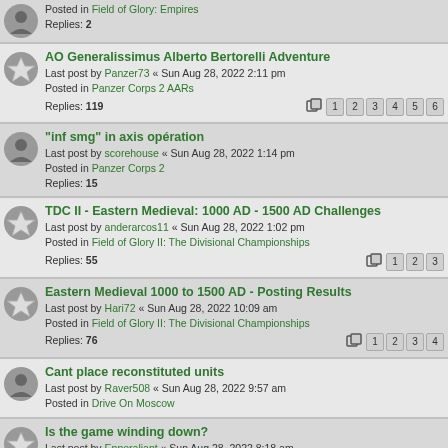Posted in Field of Glory: Empires
Replies: 2
AO Generalissimus Alberto Bertorelli Adventure
Last post by Panzer73 « Sun Aug 28, 2022 2:11 pm
Posted in Panzer Corps 2 AARs
Replies: 119
"inf smg" in axis opération
Last post by scorehouse « Sun Aug 28, 2022 1:14 pm
Posted in Panzer Corps 2
Replies: 15
TDC II - Eastern Medieval: 1000 AD - 1500 AD Challenges
Last post by anderarcos11 « Sun Aug 28, 2022 1:02 pm
Posted in Field of Glory II: The Divisional Championships
Replies: 55
Eastern Medieval 1000 to 1500 AD - Posting Results
Last post by Hari72 « Sun Aug 28, 2022 10:09 am
Posted in Field of Glory II: The Divisional Championships
Replies: 76
Cant place reconstituted units
Last post by Raver508 « Sun Aug 28, 2022 9:57 am
Posted in Drive On Moscow
Is the game winding down?
Last post by Epperaliant « Sun Aug 28, 2022 8:18 am
Posted in Order of Battle Series
Replies: 63
TDC II - Western Medieval: 1000 AD - 1500 AD Issue Challenges
Last post by criedeman1 « Sat Aug 27, 2022 7:52 pm